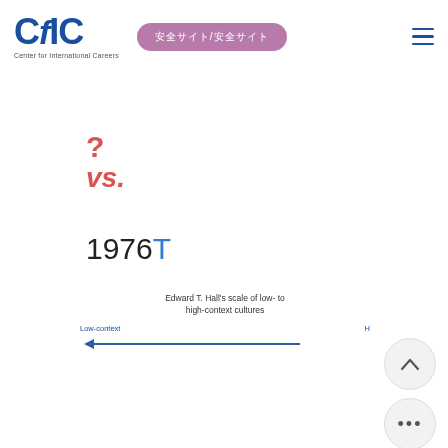CfIC Center for International Careers [nav pill] [hamburger menu]
?
vs.
1976T
[Figure (other): Edward T. Hall's scale of low- to high-context cultures, shown as a horizontal arrow pointing left labeled Low-context on the left and H[igh-context] on the right]